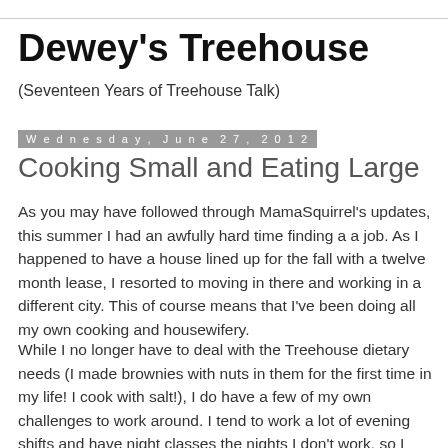Dewey's Treehouse
(Seventeen Years of Treehouse Talk)
Wednesday, June 27, 2012
Cooking Small and Eating Large
As you may have followed through MamaSquirrel's updates, this summer I had an awfully hard time finding a a job. As I happened to have a house lined up for the fall with a twelve month lease, I resorted to moving in there and working in a different city. This of course means that I've been doing all my own cooking and housewifery.
While I no longer have to deal with the Treehouse dietary needs (I made brownies with nuts in them for the first time in my life! I cook with salt!), I do have a few of my own challenges to work around. I tend to work a lot of evening shifts and have night classes the nights I don't work, so I